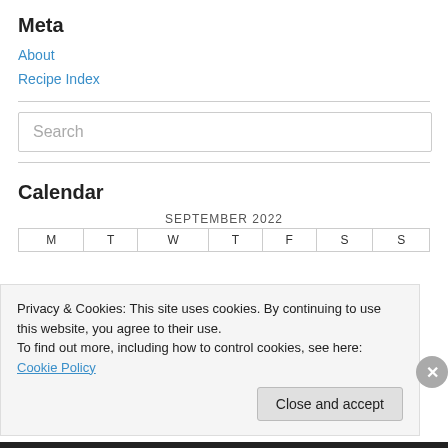Meta
About
Recipe Index
Calendar
| M | T | W | T | F | S | S |
| --- | --- | --- | --- | --- | --- | --- |
Privacy & Cookies: This site uses cookies. By continuing to use this website, you agree to their use.
To find out more, including how to control cookies, see here: Cookie Policy